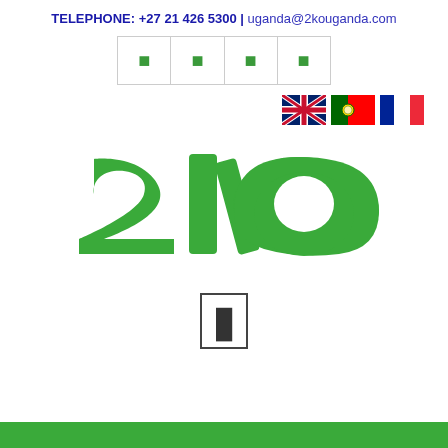TELEPHONE: +27 21 426 5300 | uganda@2kouganda.com
[Figure (other): Navigation bar with 4 icon items separated by vertical lines]
[Figure (other): Three country flags: UK, Portugal, France]
[Figure (logo): 2KO brand logo in large green letters, partially cropped]
[Figure (other): Small rectangle/icon centered on page]
[Figure (other): Green footer bar at bottom of page]